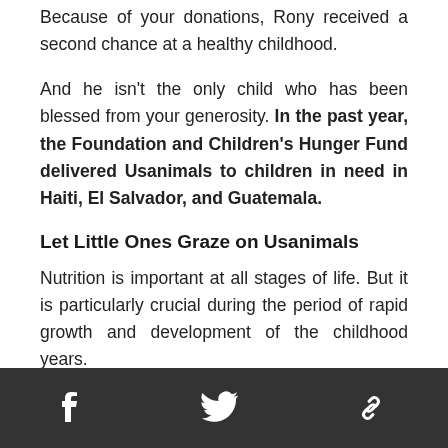Because of your donations, Rony received a second chance at a healthy childhood.
And he isn't the only child who has been blessed from your generosity. In the past year, the Foundation and Children's Hunger Fund delivered Usanimals to children in need in Haiti, El Salvador, and Guatemala.
Let Little Ones Graze on Usanimals
Nutrition is important at all stages of life. But it is particularly crucial during the period of rapid growth and development of the childhood years.
Social icons: Facebook, Twitter, Link